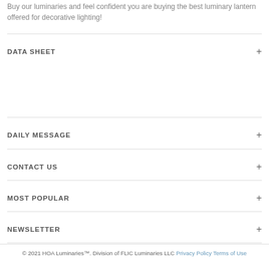Buy our luminaries and feel confident you are buying the best luminary lantern offered for decorative lighting!
DATA SHEET
DAILY MESSAGE
CONTACT US
MOST POPULAR
NEWSLETTER
© 2021 HOA Luminaries™. Division of FLIC Luminaries LLC Privacy Policy Terms of Use